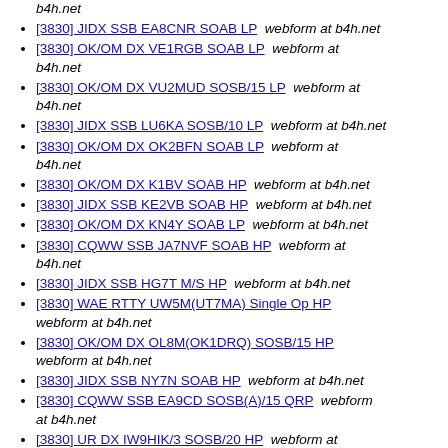[3830] JIDX SSB EA8CNR SOAB LP  webform at b4h.net
[3830] OK/OM DX VE1RGB SOAB LP  webform at b4h.net
[3830] OK/OM DX VU2MUD SOSB/15 LP  webform at b4h.net
[3830] JIDX SSB LU6KA SOSB/10 LP  webform at b4h.net
[3830] OK/OM DX OK2BFN SOAB LP  webform at b4h.net
[3830] OK/OM DX K1BV SOAB HP  webform at b4h.net
[3830] JIDX SSB KE2VB SOAB HP  webform at b4h.net
[3830] OK/OM DX KN4Y SOAB LP  webform at b4h.net
[3830] CQWW SSB JA7NVF SOAB HP  webform at b4h.net
[3830] JIDX SSB HG7T M/S HP  webform at b4h.net
[3830] WAE RTTY UW5M(UT7MA) Single Op HP  webform at b4h.net
[3830] OK/OM DX OL8M(OK1DRQ) SOSB/15 HP  webform at b4h.net
[3830] JIDX SSB NY7N SOAB HP  webform at b4h.net
[3830] CQWW SSB EA9CD SOSB(A)/15 QRP  webform at b4h.net
[3830] UR DX IW9HIK/3 SOSB/20 HP  webform at b4h.net
[3830] OK/OM DX OK1JOC SOAB LP  webform at b4h.net (partial)